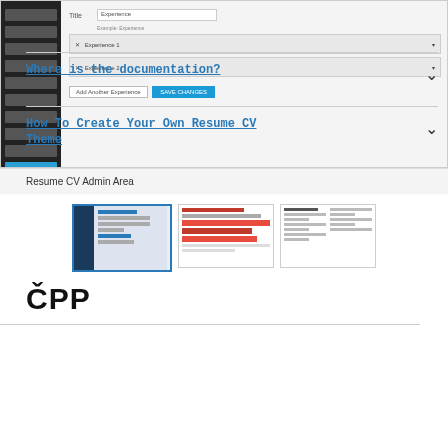[Figure (screenshot): WordPress admin interface showing Resume CV plugin settings with Experience fields, accordion items for Experience 1 and Experience 2, Add Another Experience button, and Save Changes button. Dark sidebar on left with Resume CV menu item highlighted.]
Resume CV Admin Area
[Figure (screenshot): Three thumbnail images showing different views: dark blue admin sidebar mockup, red table/chart view, and document text view]
ČPP
Where is the documentation?
How To Create Your Own Resume CV Theme